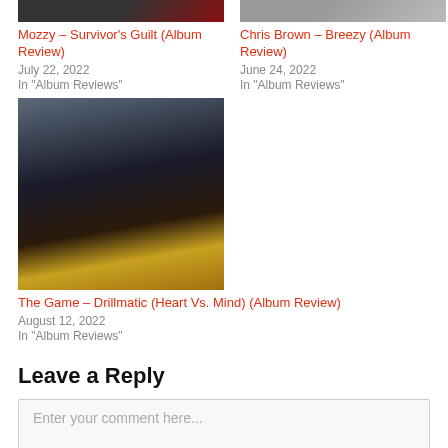[Figure (photo): Thumbnail image for Mozzy Survivor's Guilt album review (partially cropped at top)]
Mozzy – Survivor's Guilt (Album Review)
July 22, 2022
In "Album Reviews"
[Figure (photo): Thumbnail image for Chris Brown Breezy album review (partially cropped at top)]
Chris Brown – Breezy (Album Review)
June 24, 2022
In "Album Reviews"
[Figure (photo): Thumbnail image for The Game Drillmatic Heart Vs. Mind album review showing man sitting on flaming chair on beach]
The Game – Drillmatic (Heart Vs. Mind) (Album Review)
August 12, 2022
In "Album Reviews"
Leave a Reply
Enter your comment here...